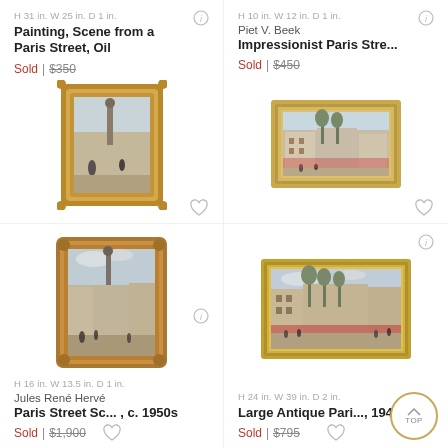H 31 in. W 25 in. D 1 in.
Painting, Scene from a Paris Street, Oil
Sold | $350
[Figure (photo): Oil painting in ornate gold frame showing a Paris street scene with a monument column and figures]
H 10 in. W 12 in. D 1 in.
Piet V. Beek
Impressionist Paris Stre...
Sold | $450
[Figure (photo): Impressionist painting in gold frame showing a Paris street scene with trees and buildings]
H 16 in. W 13.5 in. D 1 in.
Jules René Hervé
Paris Street Sc... , c. 1950s
Sold | $1,900
H 24 in. W 39 in. D 2 in.
Large Antique Pari..., 1940
Sold | $795